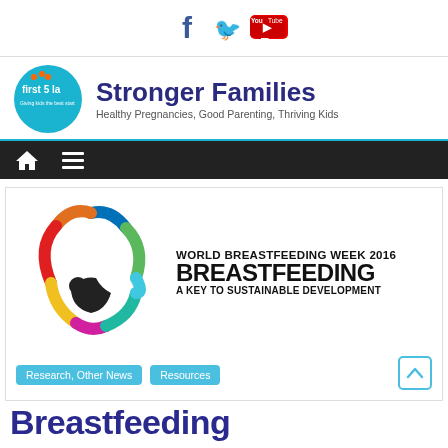[Figure (logo): Social media icons: Facebook, Twitter, YouTube]
[Figure (logo): First 5 LA logo circle with 'Stronger Families' branding and tagline: Healthy Pregnancies, Good Parenting, Thriving Kids]
[Figure (infographic): Navigation bar with home icon and menu icon on dark background]
[Figure (infographic): World Breastfeeding Week 2016 logo with colorful mother-and-child graphic and text: BREASTFEEDING A KEY TO SUSTAINABLE DEVELOPMENT]
Research, Other News
Resources
Breastfeeding